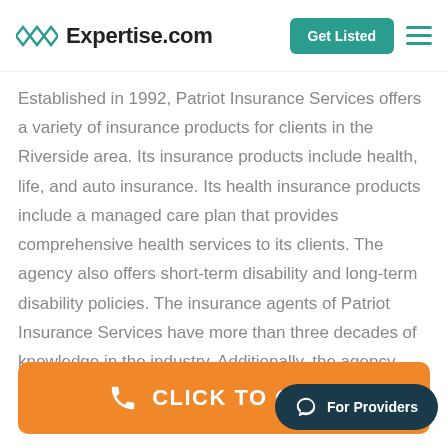Expertise.com
Established in 1992, Patriot Insurance Services offers a variety of insurance products for clients in the Riverside area. Its insurance products include health, life, and auto insurance. Its health insurance products include a managed care plan that provides comprehensive health services to its clients. The agency also offers short-term disability and long-term disability policies. The insurance agents of Patriot Insurance Services have more than three decades of knowledge in the industry. Additionally, the agency works with Spanish- and Arabic-speaking clients.
[Figure (other): Orange CLICK TO CALL button and a dark teal For Providers chat bubble button]